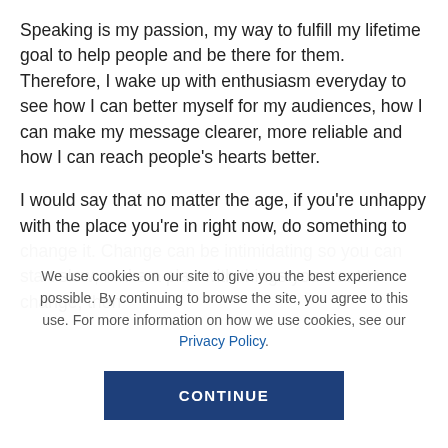Speaking is my passion, my way to fulfill my lifetime goal to help people and be there for them. Therefore, I wake up with enthusiasm everyday to see how I can better myself for my audiences, how I can make my message clearer, more reliable and how I can reach people's hearts better.
I would say that no matter the age, if you're unhappy with the place you're in right now, do something to change it. Change can be intimidating so you can start slow; make a plan with things you want to change, then
We use cookies on our site to give you the best experience possible. By continuing to browse the site, you agree to this use. For more information on how we use cookies, see our Privacy Policy.
CONTINUE